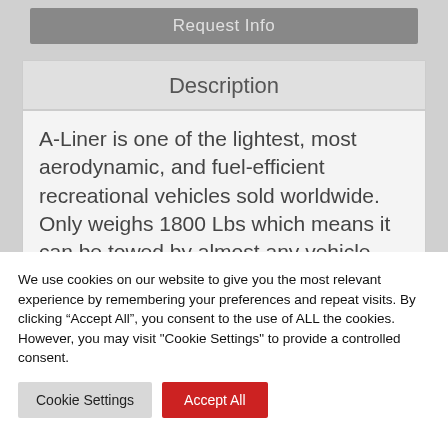Request Info
Description
A-Liner is one of the lightest, most aerodynamic, and fuel-efficient recreational vehicles sold worldwide. Only weighs 1800 Lbs which means it can be towed by almost any vehicle
We use cookies on our website to give you the most relevant experience by remembering your preferences and repeat visits. By clicking “Accept All”, you consent to the use of ALL the cookies. However, you may visit "Cookie Settings" to provide a controlled consent.
Cookie Settings
Accept All